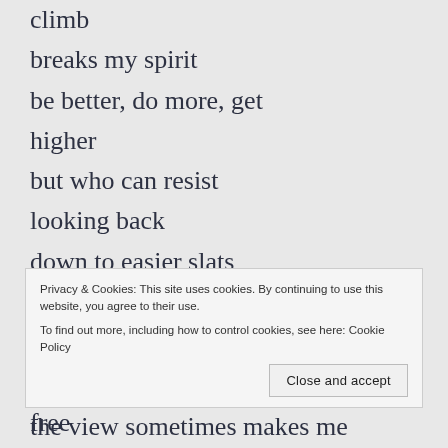climb
breaks my spirit
be better, do more, get
higher
but who can resist
looking back
down to easier slats
or even below
to solid ground
wear I could run
free
to climb a new ladder
Privacy & Cookies: This site uses cookies. By continuing to use this website, you agree to their use.
To find out more, including how to control cookies, see here: Cookie Policy
the view sometimes makes me